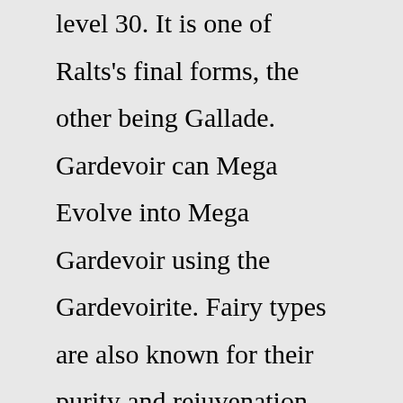level 30. It is one of Ralts's final forms, the other being Gallade. Gardevoir can Mega Evolve into Mega Gardevoir using the Gardevoirite. Fairy types are also known for their purity and rejuvenation (Pokémon like Gardevoir, Xerneas and Galarian Weezing have special powers that can purify objects). Other types of fairies with non-psychic powers always receive the fairy type for some. magical abilities (Jigglypuff can cause people to fall asleep while Tapu